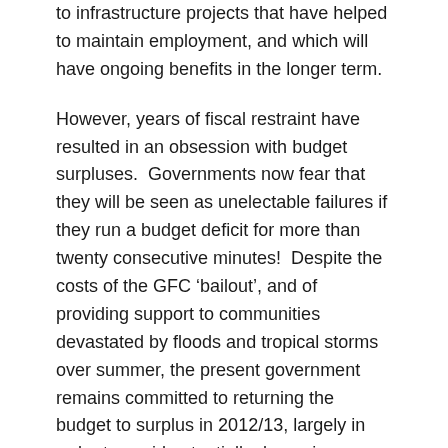to infrastructure projects that have helped to maintain employment, and which will have ongoing benefits in the longer term.
However, years of fiscal restraint have resulted in an obsession with budget surpluses.  Governments now fear that they will be seen as unelectable failures if they run a budget deficit for more than twenty consecutive minutes!  Despite the costs of the GFC ‘bailout’, and of providing support to communities devastated by floods and tropical storms over summer, the present government remains committed to returning the budget to surplus in 2012/13, largely in order to avoid potentially damaging criticism from the opposition (see, e.g.